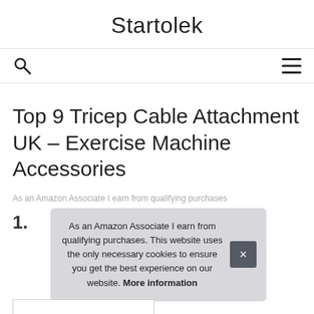Startolek
[Figure (other): Search icon (magnifying glass) on the left and hamburger menu icon on the right in a navigation bar]
Top 9 Tricep Cable Attachment UK – Exercise Machine Accessories
As an Amazon Associate I earn from qualifying purchases
1.
As an Amazon Associate I earn from qualifying purchases. This website uses the only necessary cookies to ensure you get the best experience on our website. More information